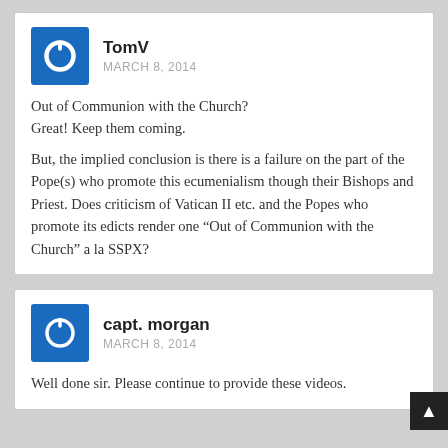TomV
MARCH 8, 2014
Out of Communion with the Church?
Great! Keep them coming.
But, the implied conclusion is there is a failure on the part of the Pope(s) who promote this ecumenialism though their Bishops and Priest. Does criticism of Vatican II etc. and the Popes who promote its edicts render one “Out of Communion with the Church” a la SSPX?
capt. morgan
MARCH 8, 2014
Well done sir. Please continue to provide these videos.